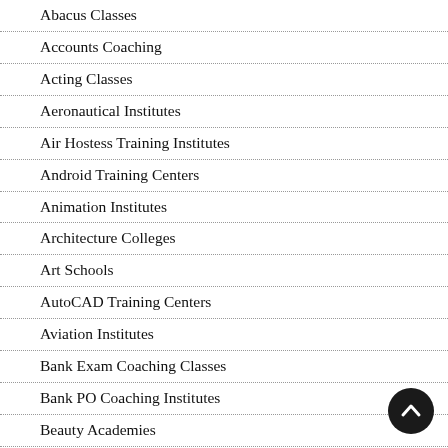Abacus Classes
Accounts Coaching
Acting Classes
Aeronautical Institutes
Air Hostess Training Institutes
Android Training Centers
Animation Institutes
Architecture Colleges
Art Schools
AutoCAD Training Centers
Aviation Institutes
Bank Exam Coaching Classes
Bank PO Coaching Institutes
Beauty Academies
Blind And Deaf Schools
Business Schools